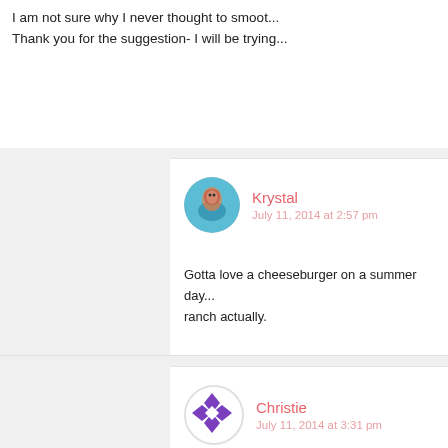I am not sure why I never thought to smoot... Thank you for the suggestion- I will be trying...
Krystal
July 11, 2014 at 2:57 pm
Gotta love a cheeseburger on a summer day... ranch actually.
Christie
July 11, 2014 at 3:31 pm
I actually love bacon and BBQ on my burger... weird,but so glad you made their own little sp...